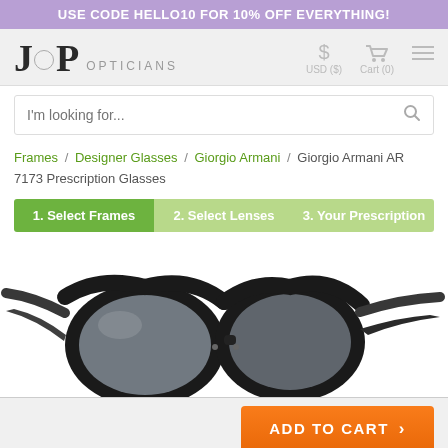USE CODE HELLO10 FOR 10% OFF EVERYTHING!
[Figure (logo): JP Opticians logo with dollar sign USD ($) and cart icon Cart (0) and hamburger menu]
I'm looking for...
Frames / Designer Glasses / Giorgio Armani / Giorgio Armani AR 7173 Prescription Glasses
1. Select Frames  2. Select Lenses  3. Your Prescription
[Figure (photo): Black Giorgio Armani AR 7173 prescription glasses frames shown at an angle on white background]
ADD TO CART >